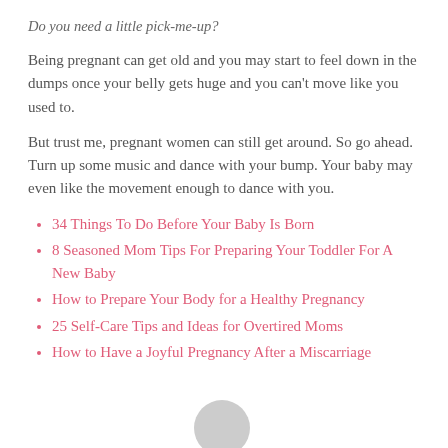Do you need a little pick-me-up?
Being pregnant can get old and you may start to feel down in the dumps once your belly gets huge and you can't move like you used to.
But trust me, pregnant women can still get around. So go ahead. Turn up some music and dance with your bump. Your baby may even like the movement enough to dance with you.
34 Things To Do Before Your Baby Is Born
8 Seasoned Mom Tips For Preparing Your Toddler For A New Baby
How to Prepare Your Body for a Healthy Pregnancy
25 Self-Care Tips and Ideas for Overtired Moms
How to Have a Joyful Pregnancy After a Miscarriage